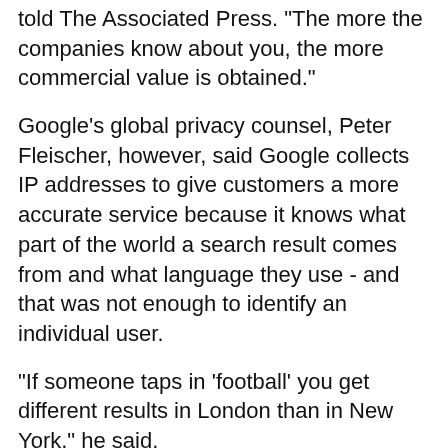told The Associated Press. "The more the companies know about you, the more commercial value is obtained."
Google's global privacy counsel, Peter Fleischer, however, said Google collects IP addresses to give customers a more accurate service because it knows what part of the world a search result comes from and what language they use - and that was not enough to identify an individual user.
"If someone taps in 'football' you get different results in London than in New York," he said.
He said the way Google stores IP addresses meant one of them forms part of a crowd, giving valuable information on general trends without infringing on an individual's privacy.
Google says it needs to store search queries and gather information on online activity to improve its search results and to provide advertisers with correct billing information that shows that genuine